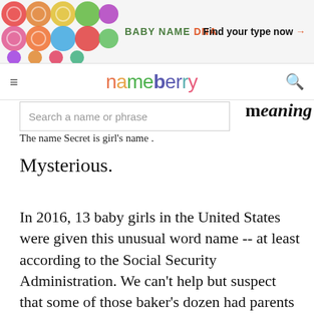[Figure (illustration): Baby Name DNA advertisement banner with colorful circle/hexagon pattern on the left and text 'BABY NAME DNA' and 'Find your type now →' on the right]
nameberry — navigation bar with hamburger menu and search icon
Search a name or phrase
…meaning
The name Secret is girl's name .
Mysterious.
In 2016, 13 baby girls in the United States were given this unusual word name -- at least according to the Social Security Administration. We can't help but suspect that some of those baker's dozen had parents who just refused to tell the federal government their daughter's name.